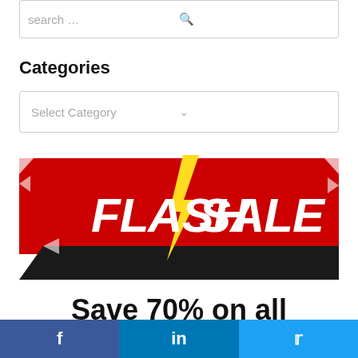search …
Categories
Select Category
[Figure (illustration): Flash Sale banner with bold white text on red background and yellow lightning bolt graphic]
Save 70% on all Revision Bootcamp
[Figure (infographic): Social sharing bar with Facebook, LinkedIn, and Twitter icons]